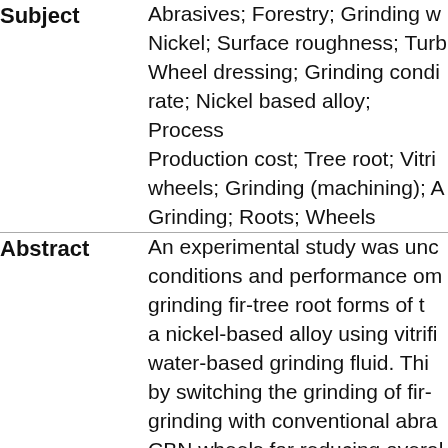| Field | Content |
| --- | --- |
| Subject | Abrasives; Forestry; Grinding w... Nickel; Surface roughness; Turb... Wheel dressing; Grinding condi... rate; Nickel based alloy; Process... Production cost; Tree root; Vitri... wheels; Grinding (machining); A... Grinding; Roots; Wheels |
| Abstract | An experimental study was unc... conditions and performance om... grinding fir-tree root forms of t... a nickel-based alloy using vitrifi... water-based grinding fluid. Thi... by switching the grinding of fir-... grinding with conventional abr... CBN wheels for reducing overal... enhancing productivity. Grindin... |